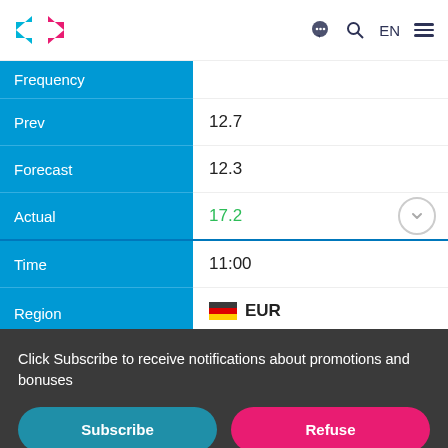TradingView header with logo, chat, search, EN, menu
| Label | Value |
| --- | --- |
| Frequency |  |
| Prev | 12.7 |
| Forecast | 12.3 |
| Actual | 17.2 |
| Time | 11:00 |
| Region | EUR |
| Importance | (2 bars active out of 3) |
| Event | Industrial Production (YoY) |
Click Subscribe to receive notifications about promotions and bonuses
Subscribe
Refuse